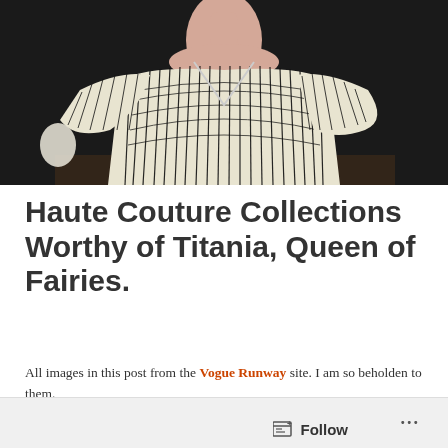[Figure (photo): Close-up fashion runway photo of a model wearing a black and white striped/contour-patterned couture dress with structured geometric lines, dark background, photographed from above the waist.]
Haute Couture Collections Worthy of Titania, Queen of Fairies.
All images in this post from the Vogue Runway site. I am so beholden to them.
Follow ···